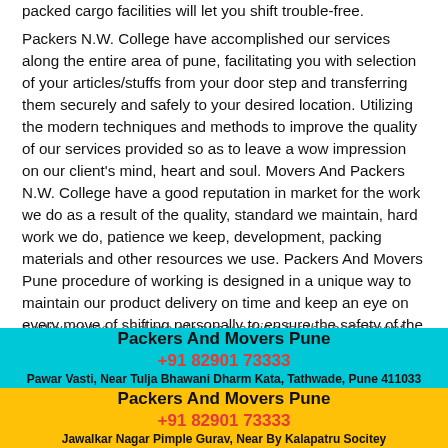packed cargo facilities will let you shift trouble-free.
Packers N.W. College have accomplished our services along the entire area of pune, facilitating you with selection of your articles/stuffs from your door step and transferring them securely and safely to your desired location. Utilizing the modern techniques and methods to improve the quality of our services provided so as to leave a wow impression on our client's mind, heart and soul. Movers And Packers N.W. College have a good reputation in market for the work we do as a result of the quality, standard we maintain, hard work we do, patience we keep, development, packing materials and other resources we use. Packers And Movers Pune procedure of working is designed in a unique way to maintain our product delivery on time and keep an eye on every move of shifting personally to ensure the safety of the goods. Movers And Packers N.W. College Pune individual service men have been allotted a particular task and are always working for the betterment and convenience of our clients. We have a network in major cities like Packers and Movers Bangalore, Packers and Movers in Chennai, Packers and Movers Delhi, Packers and Movers Lucknow, Packers and Movers in Ahmedabad, Packers and Movers Gurgaon, Packers And Movers Chennai, Packers and Movers Mumbai, Packers and Movers Hyderabad, Packers and Movers Bhubaneswar, Packers and
[Figure (infographic): Two overlapping banner/advertisement blocks. Top banner (cyan background): 'Packers And Movers Pune' title, '+91 82901 73333' phone in red, 'Pawar Vasti, Near Tulja Bhawani Dharm Kata, Tathwade, Pune 411033' address. Bottom banner (yellow background): 'Packers And Movers Pune' title, '+91 82901 73333' phone in red, 'Jawalkar Nagar Pimple Gurav, Near By Kalapatru Socitey' address.]